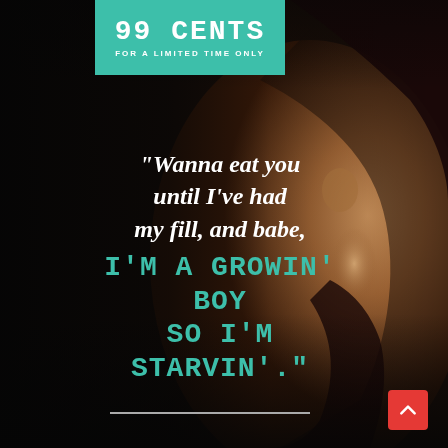[Figure (photo): Dark moody close-up photo of a person's neck and shoulder, with dramatic lighting, serving as background]
99 CENTS
FOR A LIMITED TIME ONLY
"Wanna eat you until I've had my fill, and babe, I'M A GROWIN' BOY SO I'M STARVIN'."